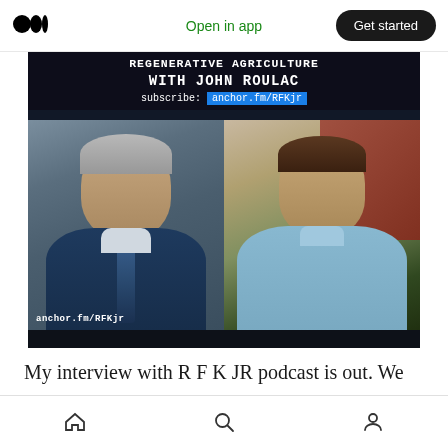Open in app  Get started
[Figure (photo): Podcast promotional image with dark background showing 'REGENERATIVE AGRICULTURE WITH JOHN ROULAC' title, subscribe: anchor.fm/RFKjr, and photos of two men side by side. Left: older man with grey hair in blue suit and tie. Right: younger man in light blue shirt smiling in front of brick wall. Bottom left watermark: anchor.fm/RFKjr]
My interview with R F K JR podcast is out. We
Home  Search  Profile